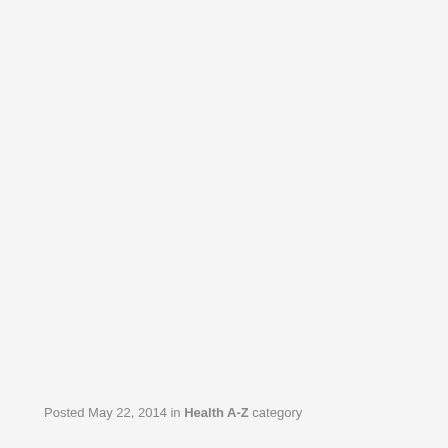Posted May 22, 2014 in Health A-Z category